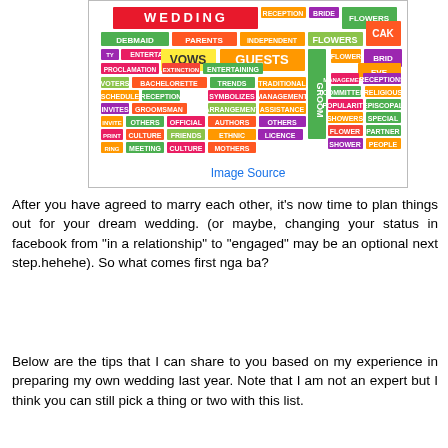[Figure (illustration): Word cloud image related to weddings with colorful blocks containing words like WEDDING, VOWS, GUESTS, FLOWERS, PARENTS, DEBMAID, GROOM, etc.]
Image Source
After you have agreed to marry each other, it's now time to plan things out for your dream wedding. (or maybe, changing your status in facebook from "in a relationship" to "engaged" may be an optional next step.hehehe). So what comes first nga ba?
Below are the tips that I can share to you based on my experience in preparing my own wedding last year. Note that I am not an expert but I think you can still pick a thing or two with this list.